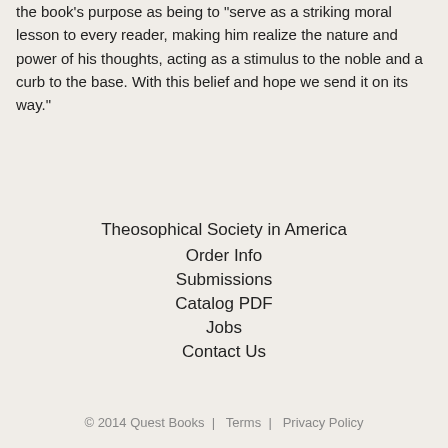the book's purpose as being to "serve as a striking moral lesson to every reader, making him realize the nature and power of his thoughts, acting as a stimulus to the noble and a curb to the base. With this belief and hope we send it on its way."
Theosophical Society in America
Order Info
Submissions
Catalog PDF
Jobs
Contact Us
© 2014 Quest Books  |   Terms  |   Privacy Policy